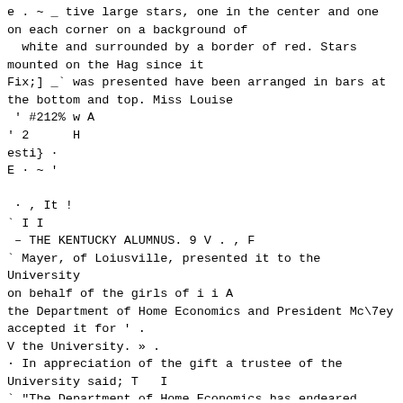e . ~ _ tive large stars, one in the center and one
on each corner on a background of
  white and surrounded by a border of red. Stars
mounted on the Hag since it
Fix;] _` was presented have been arranged in bars at
the bottom and top. Miss Louise
 ' #212% w A
' 2      H
esti} ·
E · ~ '

 · , It !
` I I
 – THE KENTUCKY ALUMNUS. 9 V . , F
` Mayer, of Loiusville, presented it to the University
on behalf of the girls of i i A
the Department of Home Economics and President Mc\7ey
accepted it for ' .
V the University. » .
· In appreciation of the gift a trustee of the
University said; T   I
` "The Department of Home Economics has endeared itself
to the faculty, Y _ I
. alumni, old students and undergraduates by making and
presenting to the {
University the huge Service Flag with its 474 stars.
One of those stars is l
; burnished with living gold. To gave upon it brings a
hush, the heart fills and ` i
we know that we have paid our first sacrifice in the